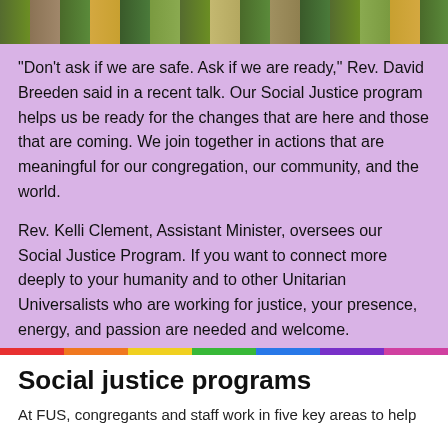[Figure (photo): A photo strip showing a crowd of people at what appears to be an outdoor event or rally, with green, yellow, and earth tones.]
“Don’t ask if we are safe. Ask if we are ready,” Rev. David Breeden said in a recent talk. Our Social Justice program helps us be ready for the changes that are here and those that are coming. We join together in actions that are meaningful for our congregation, our community, and the world.
Rev. Kelli Clement, Assistant Minister, oversees our Social Justice Program. If you want to connect more deeply to your humanity and to other Unitarian Universalists who are working for justice, your presence, energy, and passion are needed and welcome.
Contact us
Social justice programs
At FUS, congregants and staff work in five key areas to help